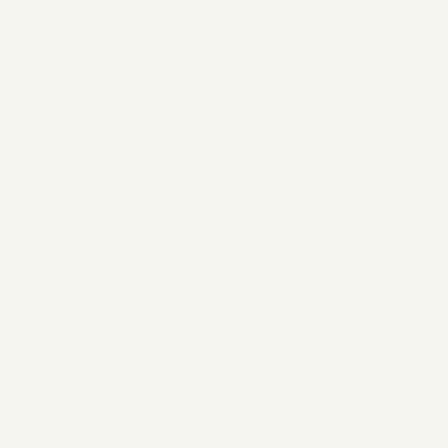101. The college require the CSS much all the top won't tell you the equations for ca
What intparent says is exactly what we've too-- as we have talke and run preliminary fi various institutions, s schools are coming in institutional grants (b this is off the top of a is 36-45K), and the p tuition discounting in student in the 90th p higher for the instituti as much as 40-50%, STATE students.
The gapping problem Colleges gloss over it statements, but it's no
Also, even preliminar now ask questions re investments. They cl those things somehov